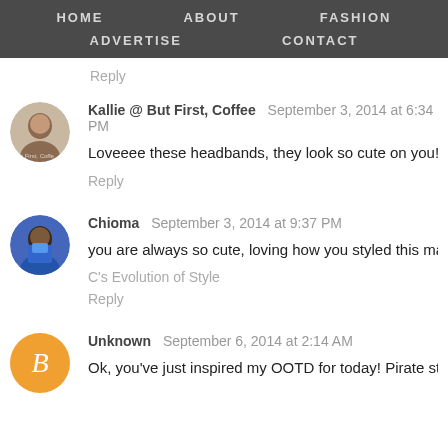HOME   ABOUT   FASHION   ADVERTISE   CONTACT
Reply
Kallie @ But First, Coffee   September 3, 2014 at 6:34 PM
Loveeee these headbands, they look so cute on you!
Reply
Chioma   September 3, 2014 at 9:37 PM
you are always so cute, loving how you styled this maxi skir
C's Evolution of Style
Reply
Unknown   September 6, 2014 at 2:14 AM
Ok, you've just inspired my OOTD for today! Pirate style it is!